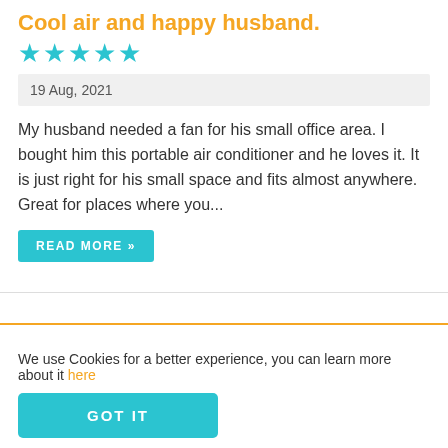Cool air and happy husband.
★★★★★
19 Aug, 2021
My husband needed a fan for his small office area. I bought him this portable air conditioner and he loves it. It is just right for his small space and fits almost anywhere. Great for places where you...
READ MORE »
[Figure (illustration): Circular avatar placeholder with a product illustration (food/snack item in diamond-shaped packaging) at the bottom center]
We use Cookies for a better experience, you can learn more about it here
GOT IT